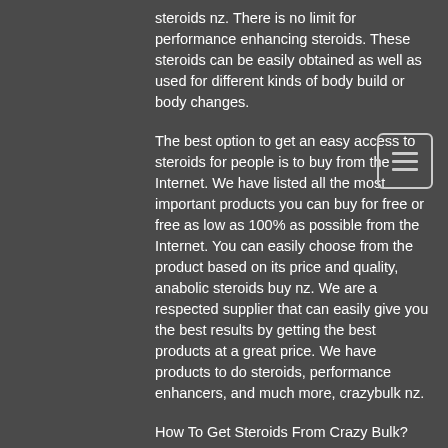steroids nz. There is no limit for performance enhancing steroids. These steroids can be easily obtained as well as used for different kinds of body build or body changes.
The best option to get an easy access to steroids for people is to buy from the Internet. We have listed all the most important products you can buy for free or free as low as 100% as possible from the Internet. You can easily choose from the product based on its price and quality, anabolic steroids buy nz. We are a respected supplier that can easily give you the best results by getting the best products at a great price. We have products to do steroids, performance enhancers, and much more, crazybulk nz.
How To Get Steroids From Crazy Bulk?
You may want to get a list and compare a